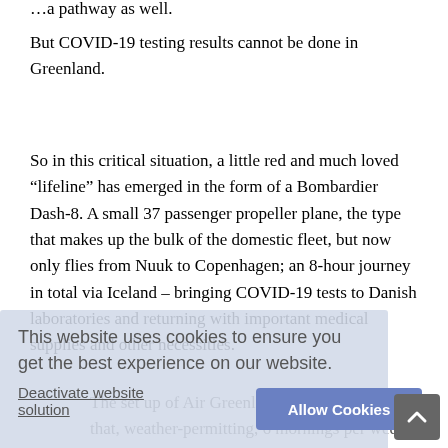…a pathway as well.
But COVID-19 testing results cannot be done in Greenland.
So in this critical situation, a little red and much loved “lifeline” has emerged in the form of a Bombardier Dash-8. A small 37 passenger propeller plane, the type that makes up the bulk of the domestic fleet, but now only flies from Nuuk to Copenhagen; an 8-hour journey in total via Iceland – bringing COVID-19 tests to Danish laboratories and returning with important medical supplies and other necessities.
The set up of Air Greenland’s COVID-19 flights is that, weather-permitting, 6 mornings per week, one Dash-8 departs Copenhagen airport and another departs Nuuk. The two planes then meet in Iceland, COVID-19 tests and medical